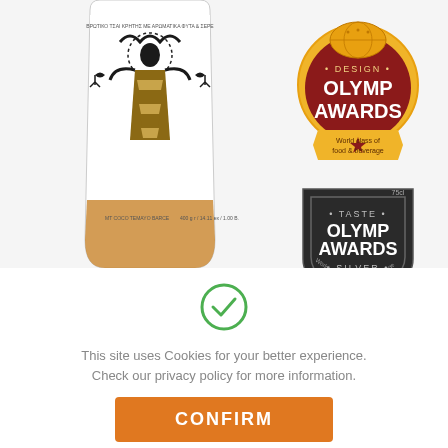[Figure (photo): Close-up of a decorative glass jar/bottle with a stylized artistic label featuring a female figure in traditional Greek style with geometric patterns, crown-like top motif, and bird/leaf decorations. The bottom of the bottle shows a honey/amber colored liquid. Label text includes Greek text and '400 g'.]
[Figure (logo): Design Olymp Awards badge - circular red and gold emblem with globe graphic at top, 'DESIGN OLYMP AWARDS' text, and gold ribbon banner stating 'World class of food & beverage']
[Figure (logo): Taste Olymp Awards Silver badge - dark grey/black shield-shaped emblem with '* TASTE * OLYMP AWARDS * SILVER *' text and 'World Class of Food & Beverage' around the edge, year '19]
[Figure (illustration): Green circle checkmark icon]
This site uses Cookies for your better experience. Check our privacy policy for more information.
CONFIRM